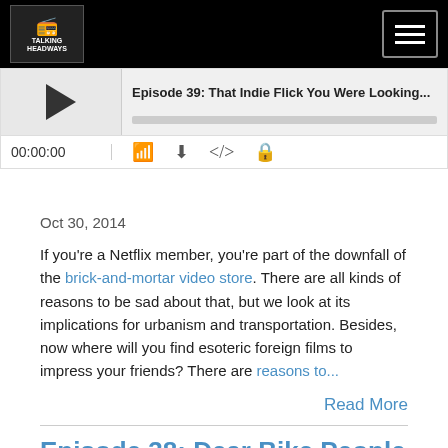[Figure (screenshot): Navigation bar with Talking Headways podcast logo on left and hamburger menu button on right, black background]
[Figure (screenshot): Audio player widget showing Episode 39: That Indie Flick You Were Looking... with play button, progress bar, time 00:00:00, and control icons]
Oct 30, 2014
If you're a Netflix member, you're part of the downfall of the brick-and-mortar video store. There are all kinds of reasons to be sad about that, but we look at its implications for urbanism and transportation. Besides, now where will you find esoteric foreign films to impress your friends? There are reasons to...
Read More
Episode 38: Dear Bike People
[Figure (screenshot): Audio player for Episode 38: Dear Bike People with Talking Headways: A Streetsblog Podcast label]